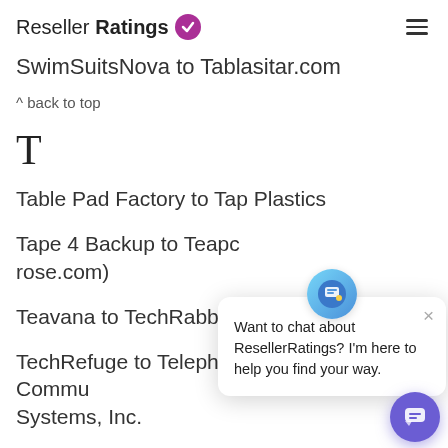ResellerRatings
SwimSuitsNova to Tablasitar.com
^ back to top
T
Table Pad Factory to Tap Plastics
Tape 4 Backup to Teapc rose.com)
Teavana to TechRabbit
TechRefuge to Telephones.com / Alpine Communications Systems, Inc.
[Figure (screenshot): Chat popup overlay with avatar icon, close button, and message: Want to chat about ResellerRatings? I'm here to help you find your way. Purple circular chat button at bottom right.]